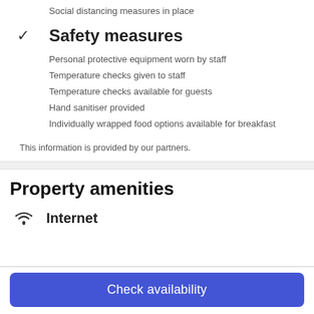Social distancing measures in place
✓  Safety measures
Personal protective equipment worn by staff
Temperature checks given to staff
Temperature checks available for guests
Hand sanitiser provided
Individually wrapped food options available for breakfast
This information is provided by our partners.
Property amenities
Internet
Check availability